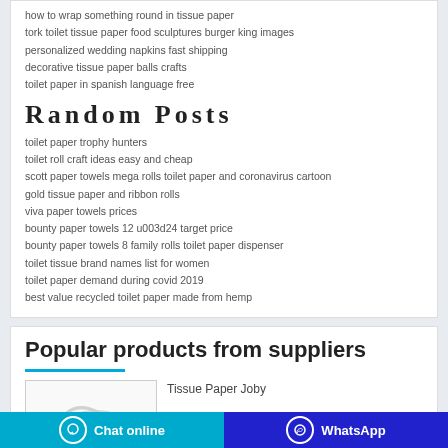how to wrap something round in tissue paper
tork toilet tissue paper food sculptures burger king images
personalized wedding napkins fast shipping
decorative tissue paper balls crafts
toilet paper in spanish language free
Random Posts
toilet paper trophy hunters
toilet roll craft ideas easy and cheap
scott paper towels mega rolls toilet paper and coronavirus cartoon
gold tissue paper and ribbon rolls
viva paper towels prices
bounty paper towels 12 u003d24 target price
bounty paper towels 8 family rolls toilet paper dispenser
toilet tissue brand names list for women
toilet paper demand during covid 2019
best value recycled toilet paper made from hemp
Popular products from suppliers
Tissue Paper Joby
Chat online
WhatsApp